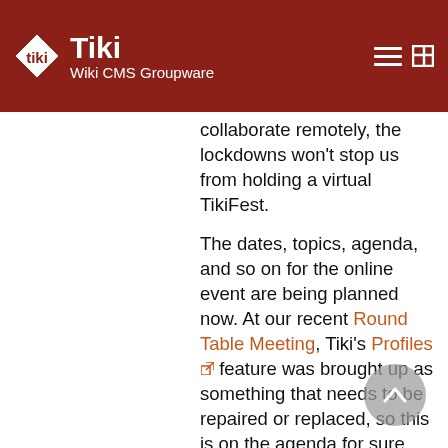Tiki Wiki CMS Groupware
collaborate remotely, the lockdowns won't stop us from holding a virtual TikiFest.
The dates, topics, agenda, and so on for the online event are being planned now. At our recent Round Table Meeting, Tiki's Profiles feature was brought up as something that needs to be repaired or replaced, so this is on the agenda for sure. Beyond that, please visit TikiFest Virtual 2020